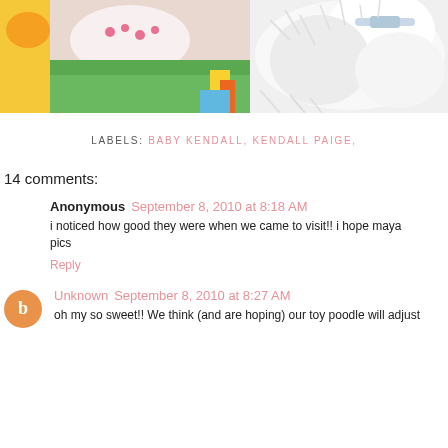[Figure (photo): Photo of a baby lying on colorful mat with toys and a white fluffy dog nearby]
LABELS: BABY KENDALL, KENDALL PAIGE,
14 comments:
Anonymous September 8, 2010 at 8:18 AM
i noticed how good they were when we came to visit!! i hope maya pics
Reply
Unknown September 8, 2010 at 8:27 AM
oh my so sweet!! We think (and are hoping) our toy poodle will adjust